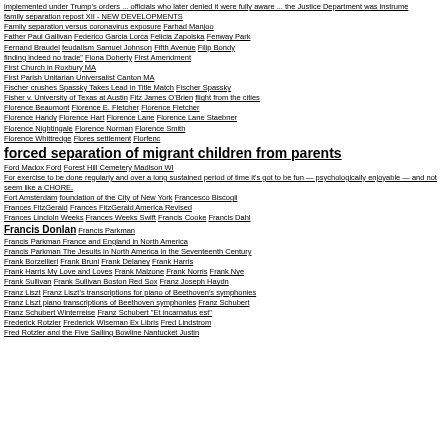implemented under Trump's orders ... officials who later denied it were fully aware ... the Justice Department was instrume family separation repost XII - NEW DEVELOPMENTS Family separation versus coronavirus exposure Farhad Manjoo Father Paul Gallivan Federico Garcia Lorca Felicia Zapolska Fenway Park Fernand Braudel feudalism Samuel Johnson Fifth Avenue Filip Bondy finding indeed no trade" Fiona Doherty First Amendment First Church in Roxbury MA First Parish Unitarian Universalist Canton MA Fischer crushes Spassky Takes Lead in Title Match Fischer Spassky Fisher v. University of Texas at Austin Fitz James O'Brien flight from the cities Florence Beaumont Florence E. Fletcher Florence Fletcher Florence Handy Florence Hart Florence Lane Florence Lane Staebner Florence Nightingale Florence Norman Florence Smith Florence Whittredge Flores settlement Florfenc forced separation of migrant children from parents Ford Madox Ford Forest Hill Cemetery Madison WI For exercise to be done regularly and over a long sustained period of time it's got to be fun — psychologically enjoyable — and not seem like a CHORE. Fort Amsterdam foundation of the City of New York Francesco Biscogli Frances FitzGerald Frances FitzGerald America Revised Frances Lincloln Weeks Frances Weeks Swift Francis Cooke Francis Dahl Francis Donlan Francis Parkman Francis Parkman France and England in North America Francis Parkman The Jesuits in North America in the Seventeenth Century Frank Borzellieri Frank Bruni Frank Delaney Frank Harris Frank Harris My Love and Loves Frank Malzone Frank Norris Frank Nye Frank Sullivan Frank Sullivan Boston Red Sox Franz Joseph Haydn Franz Liszt Franz Liszt's transcriptions for piano of Beethoven's symphonies Franz Liszt piano transcriptions of Beethoven symphonies Franz Schubert Franz Schubert Winterreise Franz Schubert "Et incarnatus est" Frederick Rotzler Frederick Wiseman Ex Libris Fred Lindstrom Fred Rotzler and the Five Sailing Bowline Nantucket Justin